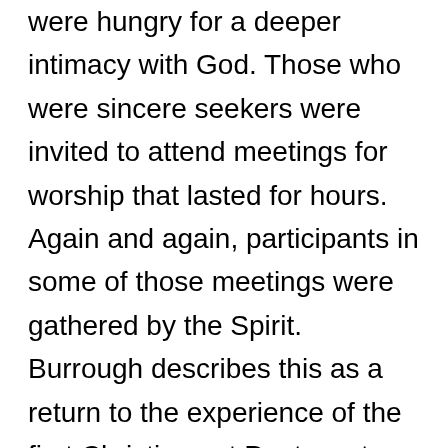were hungry for a deeper intimacy with God. Those who were sincere seekers were invited to attend meetings for worship that lasted for hours. Again and again, participants in some of those meetings were gathered by the Spirit. Burrough describes this as a return to the experience of the first Christians at Pentecost: “And while waiting upon the Lord in silence, as often we did for many hours together, with our minds and hearts toward him, being staid in the light of Christ within us, from all thoughts, fleshly motions, and desires, in our diligent waiting and fear of his name, and hearkening